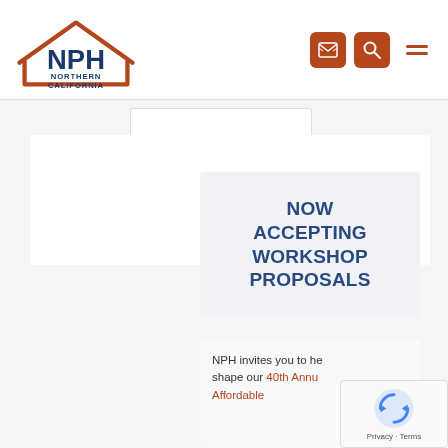[Figure (logo): NPH Northern California logo — house outline in rust/orange, NPH in navy blue bold letters, NORTHERN CALIFORNIA below in navy]
[Figure (screenshot): Navigation icons: orange email button, orange search button, orange hamburger menu icon]
[Figure (screenshot): Gray page content area with white card strip and a search bar outline at top]
NOW ACCEPTING WORKSHOP PROPOSALS
NPH invites you to help shape our 40th Annual Affordable
[Figure (screenshot): reCAPTCHA widget overlay in bottom-right corner showing spinning logo and Privacy - Terms text]